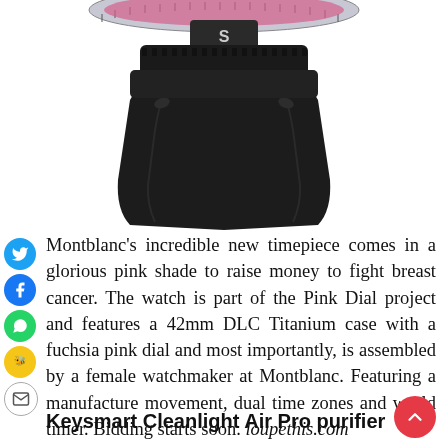[Figure (photo): Close-up of bottom portion of a Montblanc watch with a black DLC titanium case and black leather strap, seen from the back/bottom. The watch bezel shows tick marks at the top, and a letter S is visible on the crown area. The strap is textured black leather with stitch details.]
Montblanc’s incredible new timepiece comes in a glorious pink shade to raise money to fight breast cancer. The watch is part of the Pink Dial project and features a 42mm DLC Titanium case with a fuchsia pink dial and most importantly, is assembled by a female watchmaker at Montblanc. Featuring a manufacture movement, dual time zones and world timer. Bidding starts soon. loupethis.com
Keysmart Cleanlight Air Pro purifier